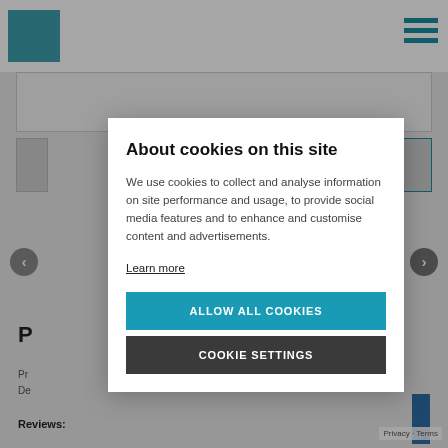[Figure (screenshot): Background website screenshot showing navigation header with teal logo and menu icon, content area with partial text elements, arrows, price label 'P', and Reviews label at bottom]
About cookies on this site
We use cookies to collect and analyse information on site performance and usage, to provide social media features and to enhance and customise content and advertisements.
Learn more
ALLOW ALL COOKIES
COOKIE SETTINGS